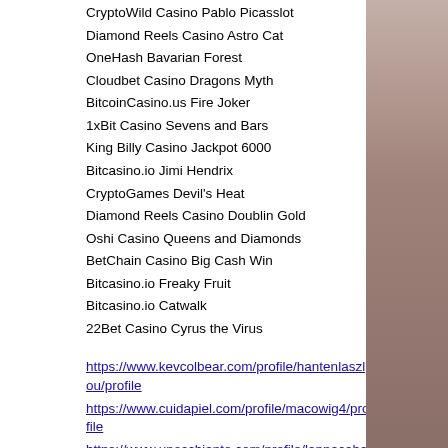CryptoWild Casino Pablo Picasslot
Diamond Reels Casino Astro Cat
OneHash Bavarian Forest
Cloudbet Casino Dragons Myth
BitcoinCasino.us Fire Joker
1xBit Casino Sevens and Bars
King Billy Casino Jackpot 6000
Bitcasino.io Jimi Hendrix
CryptoGames Devil's Heat
Diamond Reels Casino Doublin Gold
Oshi Casino Queens and Diamonds
BetChain Casino Big Cash Win
Bitcasino.io Freaky Fruit
Bitcasino.io Catwalk
22Bet Casino Cyrus the Virus
https://www.kevcolbear.com/profile/hantenlaszlou/profile
https://www.cuidapiel.com/profile/macowig4/profile
https://www.unoschianto.com/profile/lappacabanm/profile